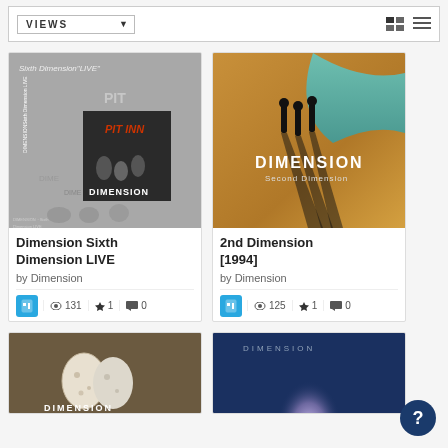VIEWS
[Figure (photo): Album cover for Dimension Sixth Dimension LIVE, showing band imagery with PIT INN text]
Dimension Sixth Dimension LIVE
by Dimension
131 views · 1 favorite · 0 comments
[Figure (photo): Album cover for 2nd Dimension [1994], showing three silhouettes on a beach with ocean]
2nd Dimension [1994]
by Dimension
125 views · 1 favorite · 0 comments
[Figure (photo): Album cover showing DIMENSION logo with eggs on brown background]
[Figure (photo): Album cover showing DIMENSION text on blue underwater background with glowing shape]